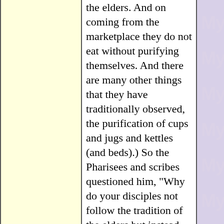the elders. And on coming from the marketplace they do not eat without purifying themselves. And there are many other things that they have traditionally observed, the purification of cups and jugs and kettles (and beds).) So the Pharisees and scribes questioned him, "Why do your disciples not follow the tradition of the elders but instead eat a meal with unclean hands?" He responded, "Well did Isaiah prophesy about you hypocrites, as it is written: 'This people honors me with their lips, but their hearts
[Figure (watermark): Repeated watermark text 'My Catho' appearing 6 times vertically on right side, light lavender color on purple background]